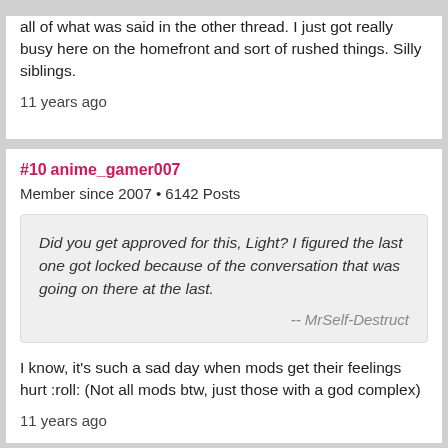all of what was said in the other thread. I just got really busy here on the homefront and sort of rushed things. Silly siblings.
11 years ago
#10 anime_gamer007
Member since 2007 • 6142 Posts
Did you get approved for this, Light? I figured the last one got locked because of the conversation that was going on there at the last.
-- MrSelf-Destruct
I know, it's such a sad day when mods get their feelings hurt :roll: (Not all mods btw, just those with a god complex)
11 years ago